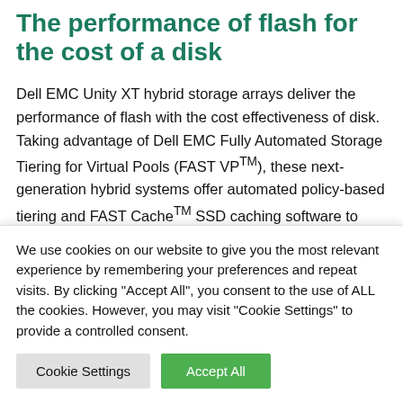The performance of flash for the cost of a disk
Dell EMC Unity XT hybrid storage arrays deliver the performance of flash with the cost effectiveness of disk. Taking advantage of Dell EMC Fully Automated Storage Tiering for Virtual Pools (FAST VPTM), these next-generation hybrid systems offer automated policy-based tiering and FAST CacheTM SSD caching software to intelligently leverage how flash is implemented—
We use cookies on our website to give you the most relevant experience by remembering your preferences and repeat visits. By clicking "Accept All", you consent to the use of ALL the cookies. However, you may visit "Cookie Settings" to provide a controlled consent.